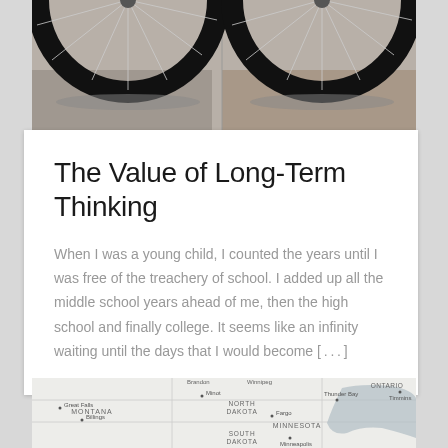[Figure (photo): Close-up photo of two bicycle wheels/tires on a concrete surface, viewed from above]
The Value of Long-Term Thinking
When I was a young child, I counted the years until I was free of the treachery of school. I added up all the middle school years ahead of me, then the high school and finally college. It seems like an infinity waiting until the days that I would become [...]
[Figure (map): Grayscale map showing parts of the northern United States and southern Canada, including states like Montana, North Dakota, South Dakota, Minnesota, and Canadian provinces Ontario, with cities labeled including Great Falls, Billings, Minot, Fargo, Minneapolis, Thunder Bay, Timmins]